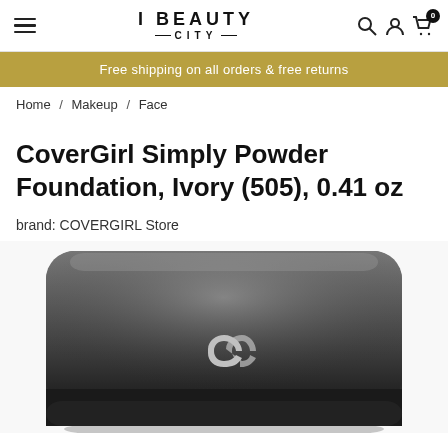I BEAUTY CITY — navigation header with hamburger menu, search, account, and cart (0) icons
Free shipping on all orders & free returns
Home / Makeup / Face
CoverGirl Simply Powder Foundation, Ivory (505), 0.41 oz
brand: COVERGIRL Store
[Figure (photo): Close-up photo of a black compact powder foundation case with the CoverGirl (CG) logo on the lid, viewed from a slight angle above. The case has a glossy black finish with rounded corners.]